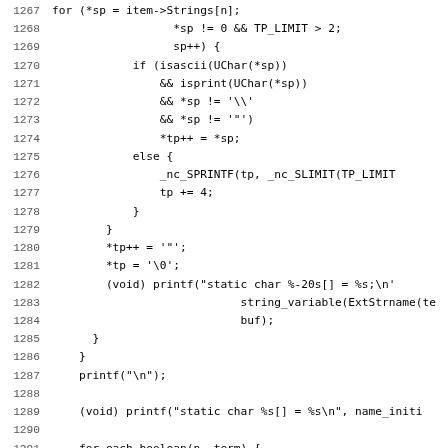[Figure (screenshot): Source code listing in monospace font showing C code lines 1267-1299, with line numbers on the left and code on the right. The code includes string processing logic, printf statements, and boolean switch/case handling.]